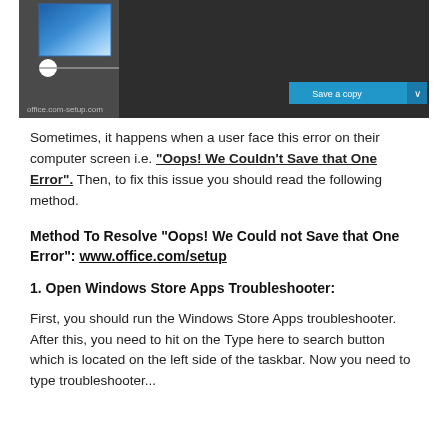[Figure (screenshot): Screenshot of a dark-themed Office application interface showing a 'Save a copy' blue button in the bottom right, a blue image tile in the top left area, a white circle/slider, and 'office.com-setup.com' URL label at the bottom left.]
Sometimes, it happens when a user face this error on their computer screen i.e. "Oops! We Couldn't Save that One Error". Then, to fix this issue you should read the following method.
Method To Resolve “Oops! We Could not Save that One Error”: www.office.com/setup
1. Open Windows Store Apps Troubleshooter:
First, you should run the Windows Store Apps troubleshooter. After this, you need to hit on the Type here to search button which is located on the left side of the taskbar. Now you need to type troubleshooter...